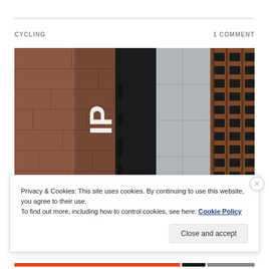CYCLING
1 COMMENT
[Figure (photo): Close-up photo of a black and white bicycle component (likely a frame tube or seatpost with brand lettering) leaning against a brick wall and metal grate on pavement]
Privacy & Cookies: This site uses cookies. By continuing to use this website, you agree to their use.
To find out more, including how to control cookies, see here: Cookie Policy
Close and accept